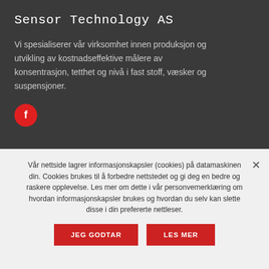Sensor Technology AS
Vi spesialiserer vår virksomhet innen produksjon og utvikling av kostnadseffektive målere av konsentrasjon, tetthet og nivå i fast stoff, væsker og suspensjoner.
[Figure (logo): Red circular Facebook icon with white letter f]
Kontakt oss
Vår nettside lagrer informasjonskapsler (cookies) på datamaskinen din. Cookies brukes til å forbedre nettstedet og gi deg en bedre og raskere opplevelse. Les mer om dette i vår personvernerklæring om hvordan informasjonskapsler brukes og hvordan du selv kan slette disse i din prefererte nettleser.
JEG GODTAR
LES MER